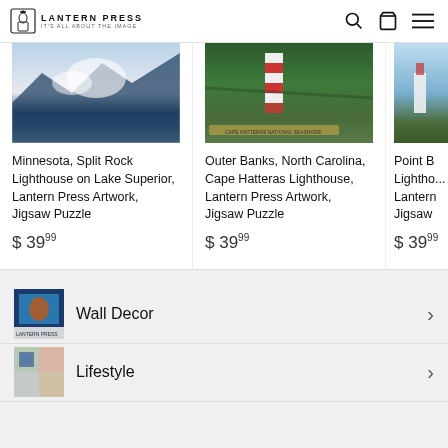LANTERN PRESS | IT'S ALL ABOUT THE IMAGE.
[Figure (photo): Minnesota, Split Rock Lighthouse on Lake Superior product image - landscape artwork]
Minnesota, Split Rock Lighthouse on Lake Superior, Lantern Press Artwork, Jigsaw Puzzle
$ 39 99
[Figure (photo): Outer Banks, North Carolina, Cape Hatteras Lighthouse product image - landscape artwork]
Outer Banks, North Carolina, Cape Hatteras Lighthouse, Lantern Press Artwork, Jigsaw Puzzle
$ 39 99
[Figure (photo): Point B Lighthouse, Lantern Press Artwork product image - partially visible]
Point B Lightho... Lantern... Jigsaw
$ 39 99
[Figure (photo): Wall Decor category thumbnail]
Wall Decor
[Figure (photo): Lifestyle category thumbnail]
Lifestyle